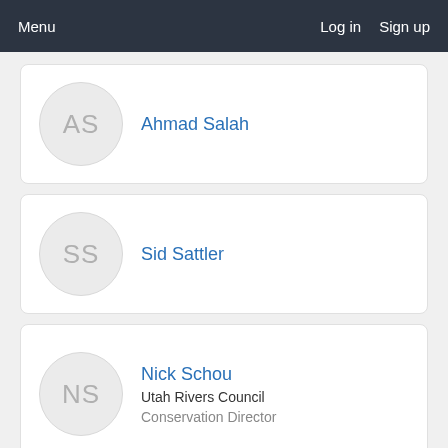Menu   Log in   Sign up
Ahmad Salah
Sid Sattler
Nick Schou
Utah Rivers Council
Conservation Director